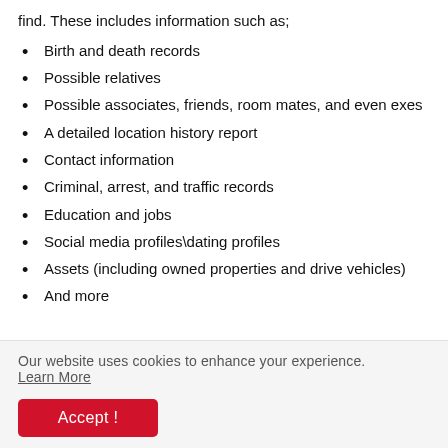find. These includes information such as;
Birth and death records
Possible relatives
Possible associates, friends, room mates, and even exes
A detailed location history report
Contact information
Criminal, arrest, and traffic records
Education and jobs
Social media profiles\dating profiles
Assets (including owned properties and drive vehicles)
And more
Our website uses cookies to enhance your experience. Learn More
Accept !